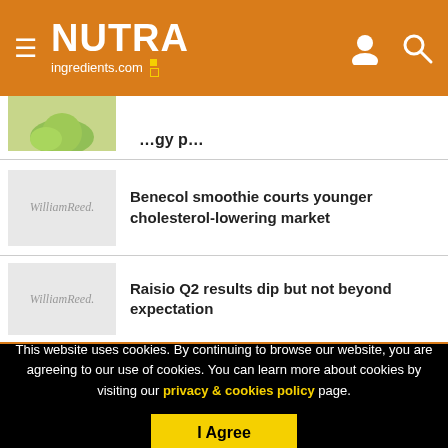NUTRAingredients.com
[Figure (photo): Partial view of a green vegetable/herb photo thumbnail]
Benecol smoothie courts younger cholesterol-lowering market
[Figure (logo): WilliamReed. placeholder logo on grey background]
Raisio Q2 results dip but not beyond expectation
[Figure (logo): WilliamReed. placeholder logo on grey background]
This website uses cookies. By continuing to browse our website, you are agreeing to our use of cookies. You can learn more about cookies by visiting our privacy & cookies policy page.
I Agree